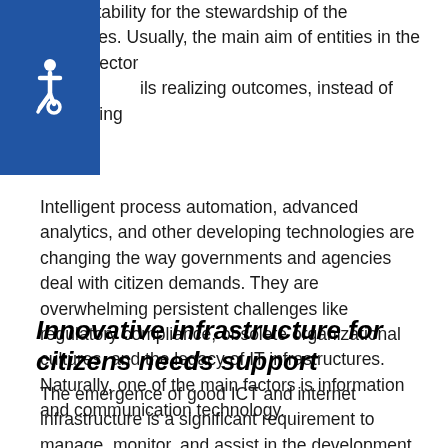accountability for the stewardship of the resources. Usually, the main aim of entities in the public sector entails realizing outcomes, instead of generating profits.
[Figure (illustration): Blue square accessibility icon with wheelchair symbol in white]
Intelligent process automation, advanced analytics, and other developing technologies are changing the way governments and agencies deal with citizen demands. They are overwhelming persistent challenges like regulatory compliance, obsolete organizational cultures, and the legacy of IT infrastructures. Naturally, one of the main factors is information and communication technology.
Innovative infrastructure for citizens needs support
The emergence of good ICT and internet infrastructure is a significant requirement to manage, monitor, and assist in the development. Initiatives come from